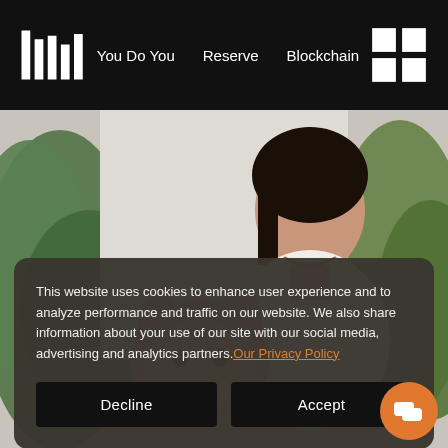You Do You   Reserve   Blockchain
[Figure (photo): Woman smiling with a shiba inu dog, surrounded by green plants, light background]
This website uses cookies to enhance user experience and to analyze performance and traffic on our website. We also share information about your use of our site with our social media, advertising and analytics partners. Our Privacy Policy
Decline
Accept